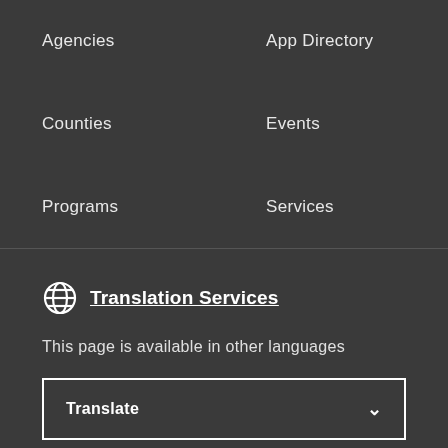Agencies
App Directory
Counties
Events
Programs
Services
Translation Services
This page is available in other languages
Translate